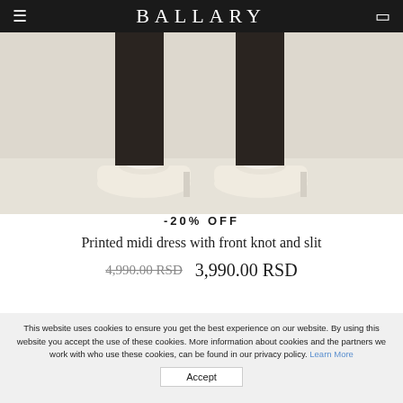BALLARY
[Figure (photo): Close-up photo of a woman's feet wearing elegant cream/ivory pointed-toe heels with ruffled/knotted ankle straps, on a light background]
-20% OFF
Printed midi dress with front knot and slit
4,990.00 RSD  3,990.00 RSD
This website uses cookies to ensure you get the best experience on our website. By using this website you accept the use of these cookies. More information about cookies and the partners we work with who use these cookies, can be found in our privacy policy. Learn More
Accept